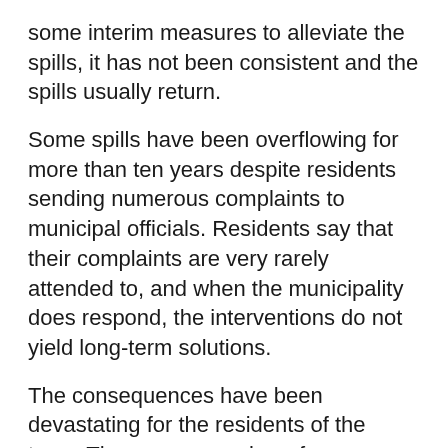some interim measures to alleviate the spills, it has not been consistent and the spills usually return.
Some spills have been overflowing for more than ten years despite residents sending numerous complaints to municipal officials. Residents say that their complaints are very rarely attended to, and when the municipality does respond, the interventions do not yield long-term solutions.
The consequences have been devastating for the residents of the town. There are a number of severe spills near schools; and children have to walk through the sewage on their way to and from school. Cattle, donkeys, and dogs are also exposed to sewage and graze in affected areas. In some cases, the continuous flow of sewage has compromised the structural integrity of homes and people have been forced to abandon rooms in their homes.